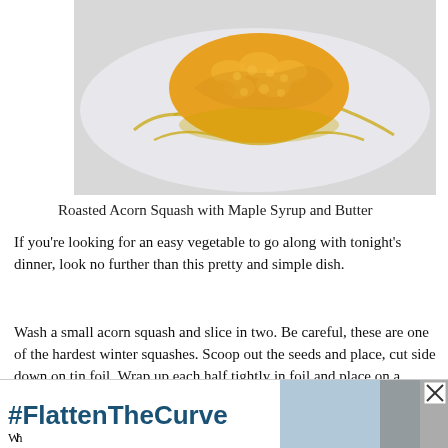[Figure (photo): Photo of roasted acorn squash half on a plate with maple syrup drizzled around it, golden-orange color]
Roasted Acorn Squash with Maple Syrup and Butter
If you’re looking for an easy vegetable to go along with tonight’s dinner, look no further than this pretty and simple dish.
Wash a small acorn squash and slice in two. Be careful, these are one of the hardest winter squashes. Scoop out the seeds and place, cut side down on tin foil. Wrap up each half tightly in foil and place on a baking sheet. Roast in 375F oven until it feels soft when you poke it. About 1 ½ hours.
[Figure (screenshot): Advertisement banner with #FlattenTheCurve text and image of hands being washed, with close button]